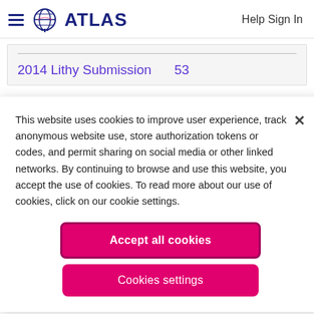ATLAS   Help Sign In
2014 Lithy Submission   53
This website uses cookies to improve user experience, track anonymous website use, store authorization tokens or codes, and permit sharing on social media or other linked networks. By continuing to browse and use this website, you accept the use of cookies. To read more about our use of cookies, click on our cookie settings.
Accept all cookies
Cookies settings